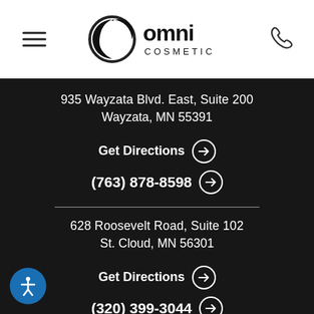[Figure (logo): Omni Cosmetic logo — stylized 'O' with crescent, text 'omni COSMETIC']
935 Wayzata Blvd. East, Suite 200
Wayzata, MN 55391
Get Directions →
(763) 878-8598 →
628 Roosevelt Road, Suite 102
St. Cloud, MN 56301
Get Directions →
(320) 399-3044 →